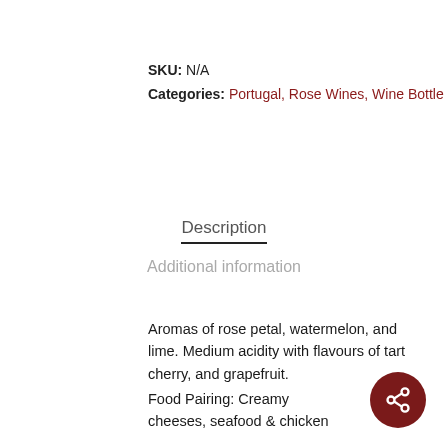SKU: N/A
Categories: Portugal, Rose Wines, Wine Bottle
Description
Additional information
Aromas of rose petal, watermelon, and lime. Medium acidity with flavours of tart cherry, and grapefruit.
Food Pairing: Creamy cheeses, seafood & chicken